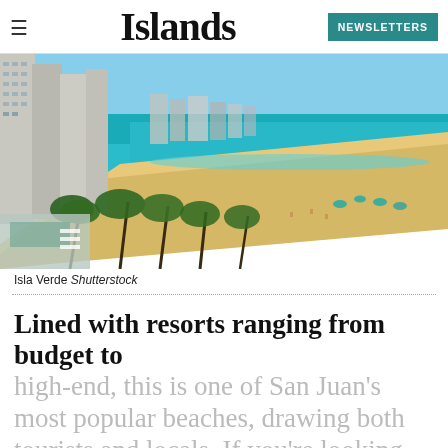Islands — NEWSLETTERS
[Figure (photo): Aerial view of Isla Verde beach in San Juan, Puerto Rico, showing high-rise hotels and resorts along a golden sandy beach with turquoise Caribbean water and palm trees in the foreground.]
Isla Verde Shutterstock
Lined with resorts ranging from budget to high-end, this is one of San Juan's most popular beaches, drawing both tourists and locals. If you're looking for nightlife…